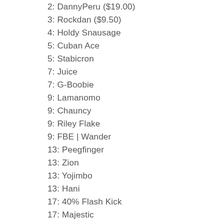2: DannyPeru ($19.00)
3: Rockdan ($9.50)
4: Holdy Snausage
5: Cuban Ace
5: Stabicron
7: Juice
7: G-Boobie
9: Lamanomo
9: Chauncy
9: Riley Flake
9: FBE | Wander
13: Peegfinger
13: Zion
13: Yojimbo
13: Hani
17: 40% Flash Kick
17: Majestic